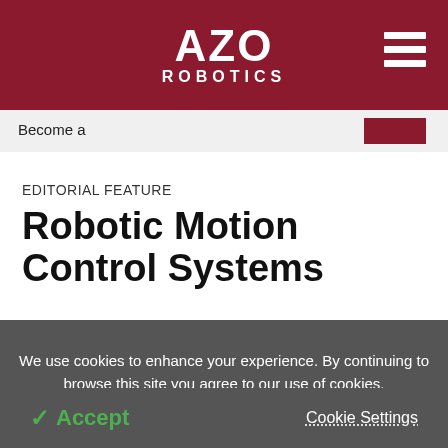AZO ROBOTICS
Become a
EDITORIAL FEATURE
Robotic Motion Control Systems
We use cookies to enhance your experience. By continuing to browse this site you agree to our use of cookies. More info.
✓ Accept
Cookie Settings